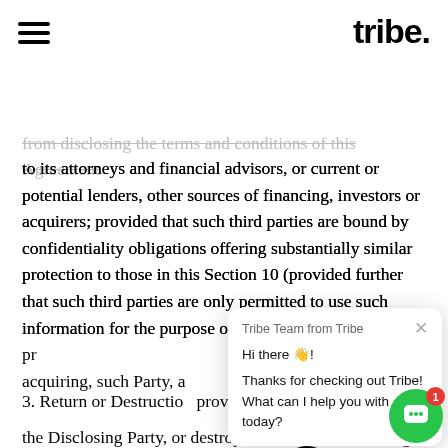tribe.
and reasonably cooperates with efforts of the other Party to
from disclosing the terms and conditions of this Agreement to its attorneys and financial advisors, or current or potential lenders, other sources of financing, investors or acquirers; provided that such third parties are bound by confidentiality obligations offering substantially similar protection to those in this Section 10 (provided further that such third parties are only permitted to use such information for the purpose of advising, lending or providing financing to, or evaluating acquiring, such Party, a
3. Return or Destruction provided in this Agreement the Disclosing Party, or destroy or erase, the Disclosing Party's Confidential Information in tangible form, upon termination of this Agreement; provided that (a) Receiving Party may retain a copy of Disclosing Party's Confidential